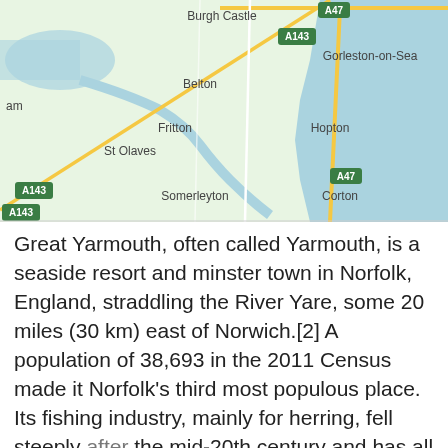[Figure (map): Google Maps screenshot showing coastal area of Norfolk/Suffolk England including locations: Burgh Castle, Gorleston-on-Sea, Belton, Fritton, St Olaves, Hopton, Somerleyton, Corton; roads A47 and A143 marked; North Sea visible on right side.]
Great Yarmouth, often called Yarmouth, is a seaside resort and minster town in Norfolk, England, straddling the River Yare, some 20 miles (30 km) east of Norwich.[2] A population of 38,693 in the 2011 Census made it Norfolk's third most populous place. Its fishing industry, mainly for herring, fell steeply after the mid-20th century and has all but vanished.[3] North Sea oil from the 1960s brought an oil-rig supply industry that now services offshore natural gas rigs. More recent offshore